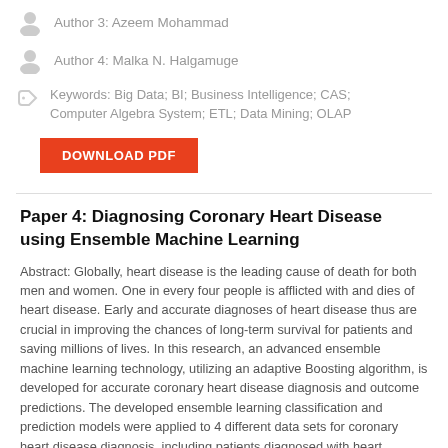Author 3: Azeem Mohammad
Author 4: Malka N. Halgamuge
Keywords: Big Data; BI; Business Intelligence; CAS; Computer Algebra System; ETL; Data Mining; OLAP
Paper 4: Diagnosing Coronary Heart Disease using Ensemble Machine Learning
Abstract: Globally, heart disease is the leading cause of death for both men and women. One in every four people is afflicted with and dies of heart disease. Early and accurate diagnoses of heart disease thus are crucial in improving the chances of long-term survival for patients and saving millions of lives. In this research, an advanced ensemble machine learning technology, utilizing an adaptive Boosting algorithm, is developed for accurate coronary heart disease diagnosis and outcome predictions. The developed ensemble learning classification and prediction models were applied to 4 different data sets for coronary heart disease diagnosis, including patients diagnosed with heart disease from